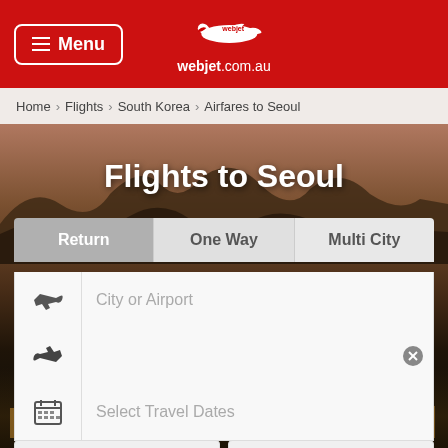[Figure (screenshot): Webjet.com.au website header with red background, hamburger menu button on left, airplane logo and webjet.com.au text in center]
Home › Flights › South Korea › Airfares to Seoul
Flights to Seoul
Return | One Way | Multi City
City or Airport
Select Travel Dates
1 Adult, Economy
Add Frequent Flyer